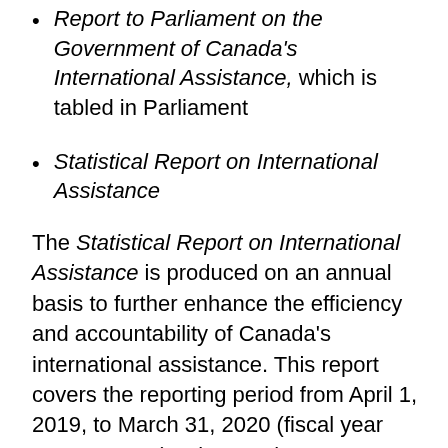Report to Parliament on the Government of Canada's International Assistance, which is tabled in Parliament
Statistical Report on International Assistance
The Statistical Report on International Assistance is produced on an annual basis to further enhance the efficiency and accountability of Canada's international assistance. This report covers the reporting period from April 1, 2019, to March 31, 2020 (fiscal year 2019 to 2020). It is complementary to the Report to Parliament